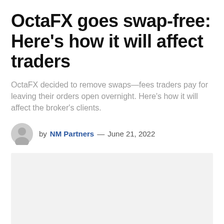OctaFX goes swap-free: Here’s how it will affect traders
OctaFX decided to remove swaps—fees traders pay for leaving their orders open overnight. Here’s how it will affect the broker’s clients.
by NM Partners — June 21, 2022
[Figure (photo): Light gray placeholder image block]